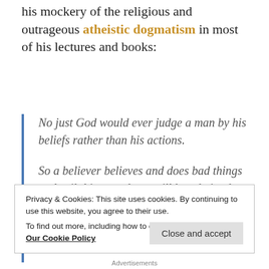his mockery of the religious and outrageous atheistic dogmatism in most of his lectures and books:
No just God would ever judge a man by his beliefs rather than his actions.

So a believer believes and does bad things and evil things and can still be admitted to heaven whereas an unbeliever can spend a lifetime of doing good things and deeds and is still
Privacy & Cookies: This site uses cookies. By continuing to use this website, you agree to their use.
To find out more, including how to control cookies, see here: Our Cookie Policy
Close and accept
Advertisements